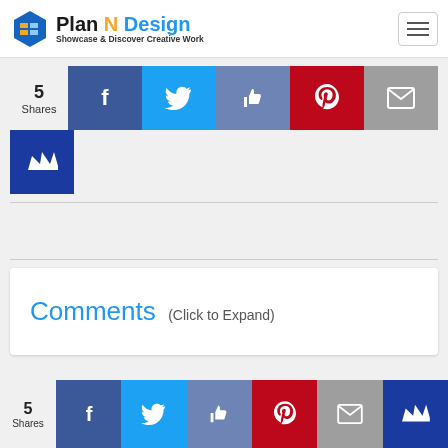[Figure (logo): Plan N Design logo with hexagon icon, text 'Plan N Design' and tagline 'Showcase & Discover Creative Work']
5 Shares
[Figure (infographic): Social share buttons row: Facebook, Twitter, Like (thumbs up), Pinterest, Email]
[Figure (infographic): Crown/bookmark share button (blue)]
Comments (Click to Expand)
5 Shares
[Figure (infographic): Bottom social share buttons: Facebook, Twitter, Like, Pinterest, Email, Crown]